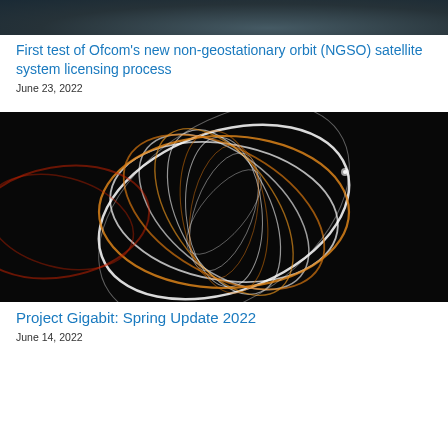[Figure (photo): Aerial or satellite view of Earth from space, dark blue-grey ocean and clouds]
First test of Ofcom’s new non-geostationary orbit (NGSO) satellite system licensing process
June 23, 2022
[Figure (photo): Long-exposure light painting photograph showing circular spiral light trails in white and gold/orange on black background]
Project Gigabit: Spring Update 2022
June 14, 2022